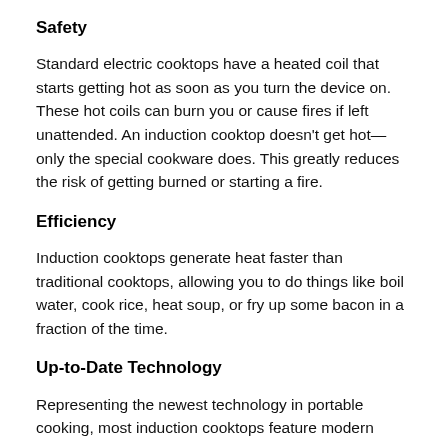Safety
Standard electric cooktops have a heated coil that starts getting hot as soon as you turn the device on. These hot coils can burn you or cause fires if left unattended. An induction cooktop doesn't get hot—only the special cookware does. This greatly reduces the risk of getting burned or starting a fire.
Efficiency
Induction cooktops generate heat faster than traditional cooktops, allowing you to do things like boil water, cook rice, heat soup, or fry up some bacon in a fraction of the time.
Up-to-Date Technology
Representing the newest technology in portable cooking, most induction cooktops feature modern